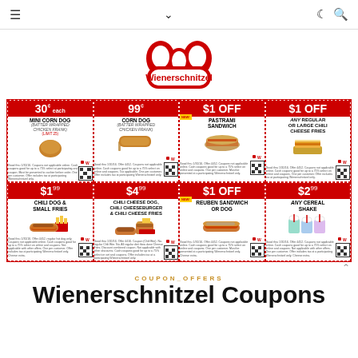≡  ∨  ☾ 🔍
[Figure (logo): Wienerschnitzel red W logo with brand name]
[Figure (infographic): Wienerschnitzel coupon sheet with 8 coupons: 30¢ each Mini Corn Dog, 99¢ Corn Dog, $1 OFF Pastrami Sandwich, $1 OFF Any Regular or Large Chili Cheese Fries, $1.99 Chili Dog & Small Fries, $4.99 Chili Cheese Dog/Chili Cheeseburger & Chili Cheese Fries, $1 OFF Reuben Sandwich or Dog, $2.99 Any Cereal Shake]
COUPON_OFFERS
Wienerschnitzel Coupons